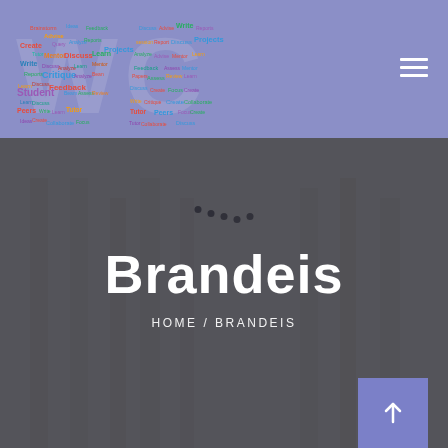[Figure (logo): Writing Center logo with word cloud forming the letters WC, containing words like Write, Create, Advise, Mentor, Feedback, Discuss, Learn, Tutor, Peers, Ideas, Critique, Student, Collaborate, Focus, Projects, Reports]
[Figure (other): Hamburger menu icon (three horizontal lines) in top right of header]
[Figure (photo): Blurred background image of a library or academic building, overlaid with hero content area]
[Figure (other): Loading spinner dots arranged in arc]
Brandeis
HOME / BRANDEIS
[Figure (other): Purple square button with upward arrow in bottom right corner]